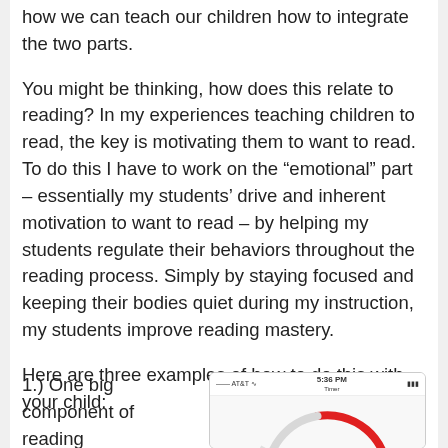how we can teach our children how to integrate the two parts.
You might be thinking, how does this relate to reading? In my experiences teaching children to read, the key is motivating them to want to read. To do this I have to work on the “emotional” part – essentially my students’ drive and inherent motivation to want to read – by helping my students regulate their behaviors throughout the reading process. Simply by staying focused and keeping their bodies quiet during my instruction, my students improve reading mastery.
Here are three examples of how to do this with your child:
1.) One big component of reading
[Figure (screenshot): A smartphone timer app screenshot showing a curved red timer line on a white/gray background, with a status bar showing AT&T signal, 5:36 PM time, and battery indicator.]